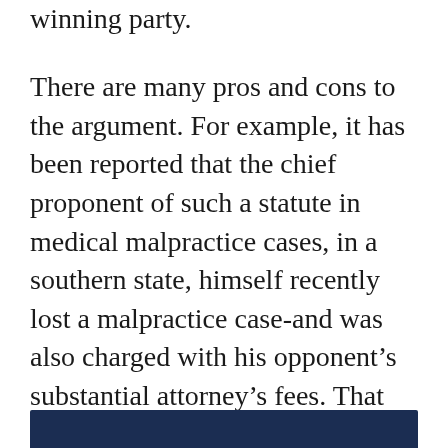winning party.
There are many pros and cons to the argument. For example, it has been reported that the chief proponent of such a statute in medical malpractice cases, in a southern state, himself recently lost a malpractice case-and was also charged with his opponent’s substantial attorney’s fees. That doctor may now have had a change of heart!